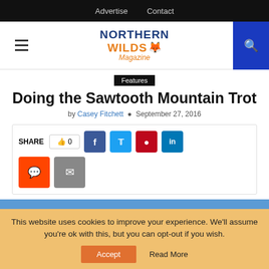Advertise   Contact
[Figure (logo): Northern Wilds Magazine logo with fox icon]
Features
Doing the Sawtooth Mountain Trot
by Casey Fitchett  September 27, 2016
[Figure (infographic): Share buttons: thumbs up 0, Facebook, Twitter, Pinterest, LinkedIn, Reddit, Email]
This website uses cookies to improve your experience. We'll assume you're ok with this, but you can opt-out if you wish.
Accept   Read More